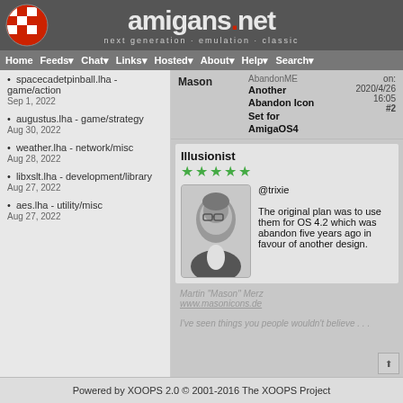amigans.net — next generation · emulation · classic
Home | Feeds | Chat | Links | Hosted | About | Help | Search
spacecadetpinball.lha - game/action Sep 1, 2022
augustus.lha - game/strategy Aug 30, 2022
weather.lha - network/misc Aug 28, 2022
libxslt.lha - development/library Aug 27, 2022
aes.lha - utility/misc Aug 27, 2022
Mason — Another Abandon Icon Set for AmigaOS4 on: 2020/4/26 16:05 #2
Illusionist ★★★★★ @trixie
The original plan was to use them for OS 4.2 which was abandon five years ago in favour of another design.
Martin "Mason" Merz
www.masonicons.de
I've seen things you people wouldn't believe . . .
Powered by XOOPS 2.0 © 2001-2016 The XOOPS Project